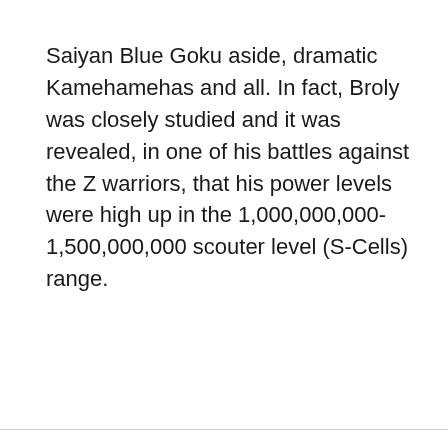Saiyan Blue Goku aside, dramatic Kamehamehas and all. In fact, Broly was closely studied and it was revealed, in one of his battles against the Z warriors, that his power levels were high up in the 1,000,000,000-1,500,000,000 scouter level (S-Cells) range.